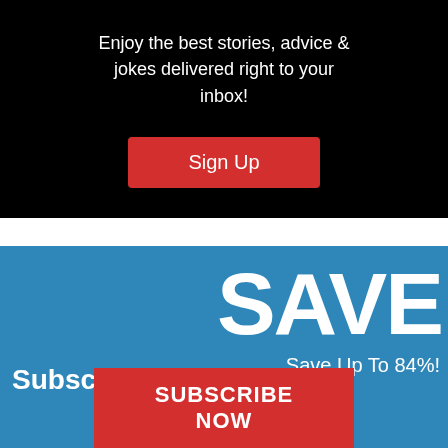Enjoy the best stories, advice & jokes delivered right to your inbox!
[Figure (other): Red Sign Up button on black background]
[Figure (other): Blue subscription banner with SAVE text, Save Up To 84%!, Subscribe & text, and red SUBSCRIBE NOW button]